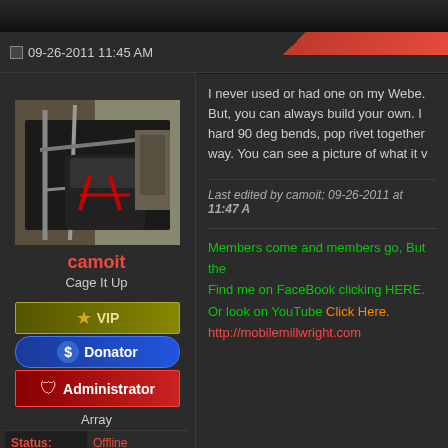09-26-2011 11:45 AM
[Figure (photo): Car interior photo showing roll cage, racing seat with red harness, viewed from open door]
camoit
Cage It Up
[Figure (infographic): VIP badge with gold star icon]
[Figure (infographic): Donator badge with blue dollar sign icon]
[Figure (infographic): Administrator badge with red shield icon]
Array
| Status: | Offline |
| --- | --- |
| Join Date: | 03-16-2011 |
| Posts: | 1,757 |
I never used or had one on my Webe. But, you can always build your own. I hard 90 deg bends, pop rivet together way. You can see a picture of what it v
Last edited by camoit; 09-26-2011 at 11:47 A
Members come and members go, But the Find me on FaceBook clicking HERE. Or look on YouTube Click Here. http://mobilemillwright.com